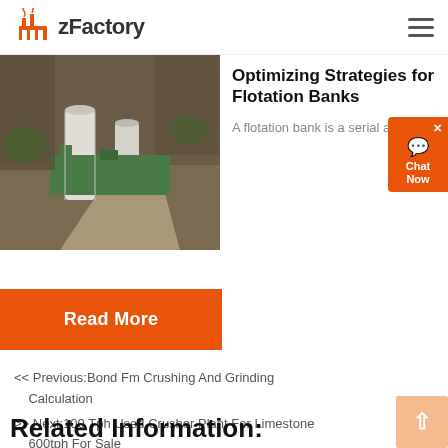zFactory
[Figure (photo): Aerial photo of a mining or mineral processing plant with silos, conveyors, and rocky terrain]
Optimizing Strategies for Flotation Banks
A flotation bank is a serial ar...
Read More
<< Previous:Bond Fm Crushing And Grinding Calculation
>> Next:100 Tph Used Crusher Plant For Limestone 600tph For Sale
Related Information: